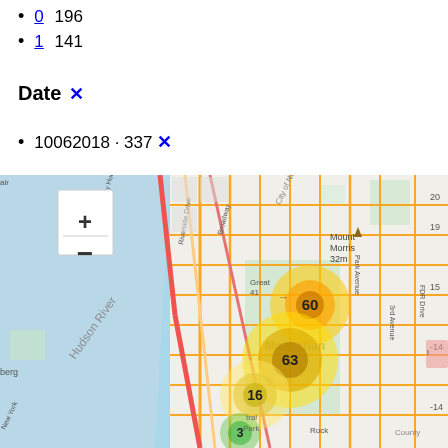0 196
1 141
Date ✕
10062018 · 337 ✕
[Figure (map): Interactive map of Manhattan/New York City with heat map clusters showing data points. Three main clusters visible: one labeled 60 near Great Hill, one labeled 63 in central Manhattan, and one labeled 16 near Central Park lower area, and one labeled 3 near Rock area. Map includes zoom controls (+/-) and shows Hudson River, various streets, parks, and landmarks.]